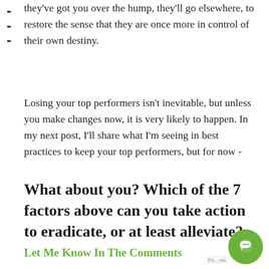they've got you over the hump, they'll go elsewhere, to restore the sense that they are once more in control of their own destiny.
Losing your top performers isn't inevitable, but unless you make changes now, it is very likely to happen. In my next post, I'll share what I'm seeing in best practices to keep your top performers, but for now -
What about you? Which of the 7 factors above can you take action to eradicate, or at least alleviate?
Let Me Know In The Comments